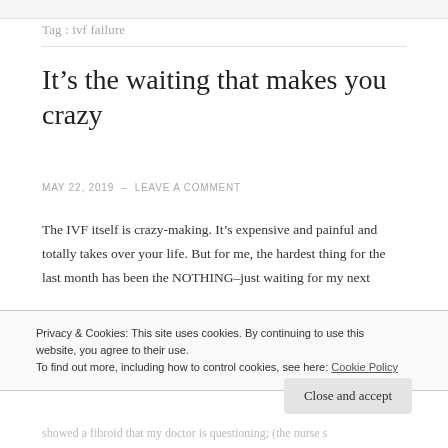Tag: ivf failure
It’s the waiting that makes you crazy
MAY 22, 2019  –  LEAVE A COMMENT
The IVF itself is crazy-making. It’s expensive and painful and totally takes over your life. But for me, the hardest thing for the last month has been the NOTHING–just waiting for my next
Privacy & Cookies: This site uses cookies. By continuing to use this website, you agree to their use.
To find out more, including how to control cookies, see here: Cookie Policy
Close and accept
showed a fibroid that my doctor is questioning; (the nurse s